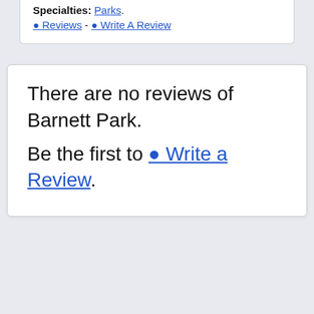Specialties: Parks.
0 Reviews - 0 Write A Review
There are no reviews of Barnett Park. Be the first to 0 Write a Review.